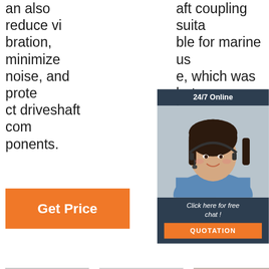an also reduce vibration, minimize noise, and protect driveshaft components.
aft coupling suitable for marine use, which was both ea
[Figure (screenshot): 24/7 Online chat popup with female customer service representative wearing headset, dark navy header, and orange QUOTATION button]
Get Price
G
[Figure (photo): Stainless steel universal joint / CV joint component, metallic gray]
[Figure (photo): Shaft collar or coupling component, bullet-shaped, metallic gray]
[Figure (photo): R And D - small brown/copper colored components scattered, with TOP logo]
Stainless
Shaft Collar,
R And D